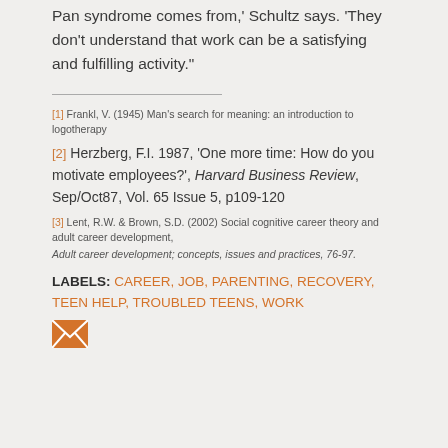Pan syndrome comes from,' Schultz says. 'They don't understand that work can be a satisfying and fulfilling activity."
[1] Frankl, V. (1945) Man's search for meaning: an introduction to logotherapy
[2] Herzberg, F.I. 1987, 'One more time: How do you motivate employees?', Harvard Business Review, Sep/Oct87, Vol. 65 Issue 5, p109-120
[3] Lent, R.W. & Brown, S.D. (2002) Social cognitive career theory and adult career development, Adult career development; concepts, issues and practices, 76-97.
LABELS: CAREER, JOB, PARENTING, RECOVERY, TEEN HELP, TROUBLED TEENS, WORK